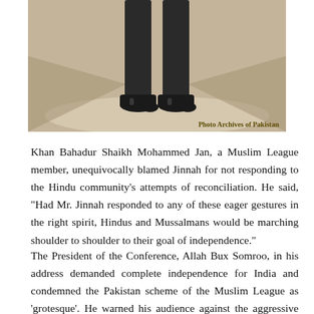[Figure (photo): Sepia-toned archival photograph showing the lower body and legs of a person standing, wearing dark trousers and black shoes. Photo credit reads 'Photo Archives of Pakistan'.]
Photo Archives of Pakistan
Khan Bahadur Shaikh Mohammed Jan, a Muslim League member, unequivocally blamed Jinnah for not responding to the Hindu community's attempts of reconciliation. He said, “Had Mr. Jinnah responded to any of these eager gestures in the right spirit, Hindus and Mussalmans would be marching shoulder to shoulder to their goal of independence.”
The President of the Conference, Allah Bux Somroo, in his address demanded complete independence for India and condemned the Pakistan scheme of the Muslim League as ‘grotesque’. He warned his audience against the aggressive communalism being carried out by Muslim League. He said,